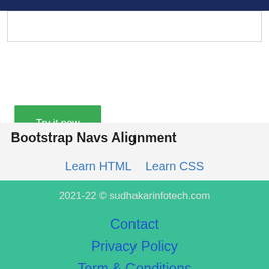[Figure (screenshot): Dark navy top bar and white input box area of a web editor UI]
Try it now
Source Code : Output
Bootstrap Navs Alignment
Learn HTML   Learn CSS
2021-22 © sudhakarinfotech.com
Contact
Privacy Policy
Term & Conditions
Disclaimer